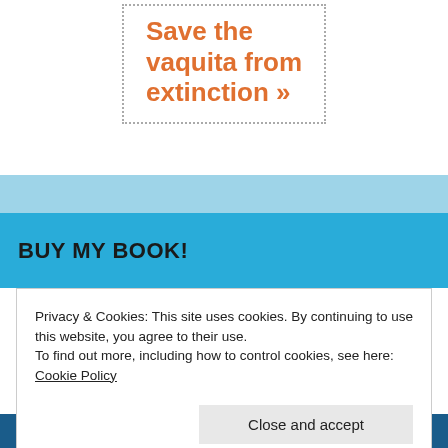Save the vaquita from extinction »
BUY MY BOOK!
[Figure (illustration): Book cover showing a dolphin/vaquita illustration with 'SECOND EDITION' badge on a teal background]
Privacy & Cookies: This site uses cookies. By continuing to use this website, you agree to their use.
To find out more, including how to control cookies, see here: Cookie Policy
Close and accept
THE VAQUITA